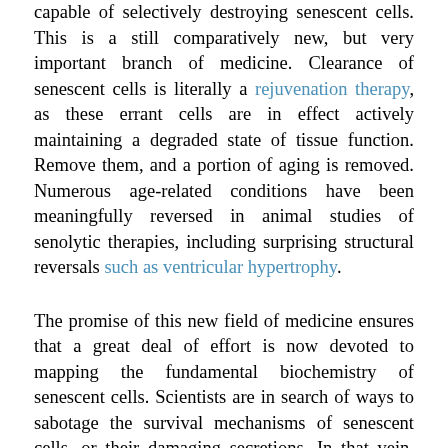capable of selectively destroying senescent cells. This is a still comparatively new, but very important branch of medicine. Clearance of senescent cells is literally a rejuvenation therapy, as these errant cells are in effect actively maintaining a degraded state of tissue function. Remove them, and a portion of aging is removed. Numerous age-related conditions have been meaningfully reversed in animal studies of senolytic therapies, including surprising structural reversals such as ventricular hypertrophy.
The promise of this new field of medicine ensures that a great deal of effort is now devoted to mapping the fundamental biochemistry of senescent cells. Scientists are in search of ways to sabotage the survival mechanisms of senescent cells, or their damaging secretions. In that vein, today's open access paper is a review of what is known of the extensive genomic